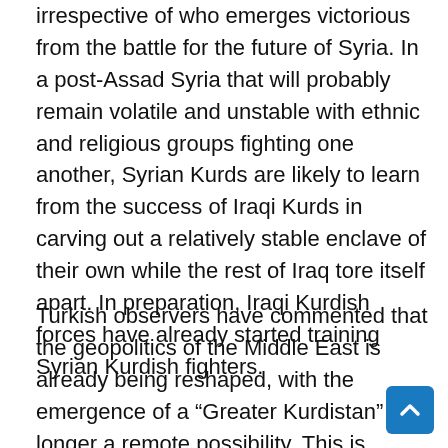irrespective of who emerges victorious from the battle for the future of Syria. In a post-Assad Syria that will probably remain volatile and unstable with ethnic and religious groups fighting one another, Syrian Kurds are likely to learn from the success of Iraqi Kurds in carving out a relatively stable enclave of their own while the rest of Iraq tore itself apart. In preparation, Iraqi Kurdish forces have already started training Syrian Kurdish fighters.
Turkish observers have commented that the geopolitics of the Middle East is already being reshaped, with the emergence of a “Greater Kurdistan” no longer a remote possibility. This is posing enormous challenges for all the states hosting large Kurdish populations: Turkey, Iraq, Syria, and Iran. Kurdistan is a potential land bridge for many of the conflicts currently erupting in this part of the region. It provides a ground route for Iraqi Kurdistan to supply the Syrian Kurds as they seek greater autonomy from Damascus. But it also will be used as a bridge